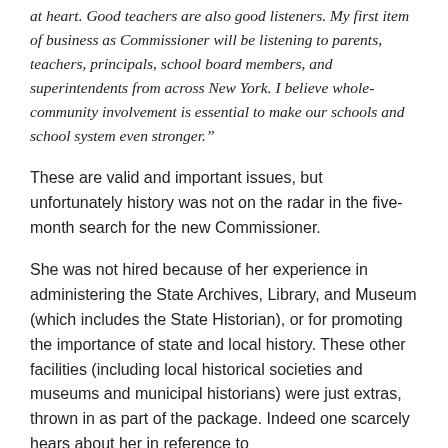at heart. Good teachers are also good listeners. My first item of business as Commissioner will be listening to parents, teachers, principals, school board members, and superintendents from across New York. I believe whole-community involvement is essential to make our schools and school system even stronger.”
These are valid and important issues, but unfortunately history was not on the radar in the five-month search for the new Commissioner.
She was not hired because of her experience in administering the State Archives, Library, and Museum (which includes the State Historian), or for promoting the importance of state and local history. These other facilities (including local historical societies and museums and municipal historians) were just extras, thrown in as part of the package. Indeed one scarcely hears about her in reference to